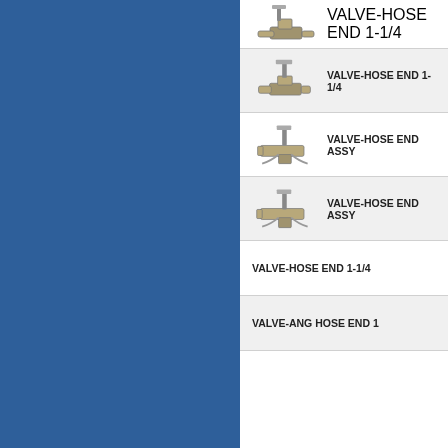[Figure (screenshot): Product listing page showing valve components with thumbnail images and product names. Left side blue sidebar panel. Product rows include: VALVE-HOSE END 1-1/4 (partial, top), VALVE-HOSE END 1-1/4 (shaded row with image), VALVE-HOSE END ASSY (white row with image), VALVE-HOSE END ASSY (shaded row with image), VALVE-HOSE END 1-1/4 (no image), VALVE-ANG HOSE END 1 (shaded, no image). Showing 1-24 of 10181 Results.]
VALVE-HOSE END 1-1/4
VALVE-HOSE END 1-1/4
VALVE-HOSE END ASSY
VALVE-HOSE END ASSY
VALVE-HOSE END 1-1/4
VALVE-ANG HOSE END 1
Showing 1 - 24 of 10181 Results
THE PRODUCTS, KNOWL...
237...
9135...
913 14th...
2201...